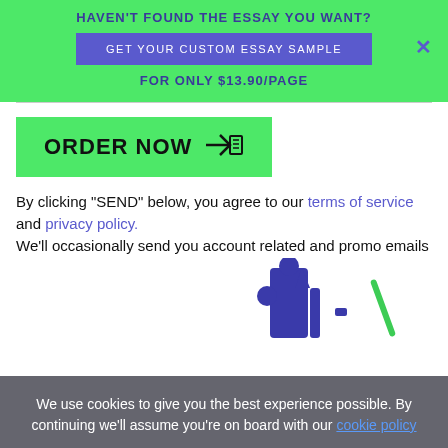HAVEN'T FOUND THE ESSAY YOU WANT?
GET YOUR CUSTOM ESSAY SAMPLE
FOR ONLY $13.90/PAGE
ORDER NOW
By clicking "SEND" below, you agree to our terms of service and privacy policy.
We'll occasionally send you account related and promo emails
We use cookies to give you the best experience possible. By continuing we'll assume you're on board with our cookie policy